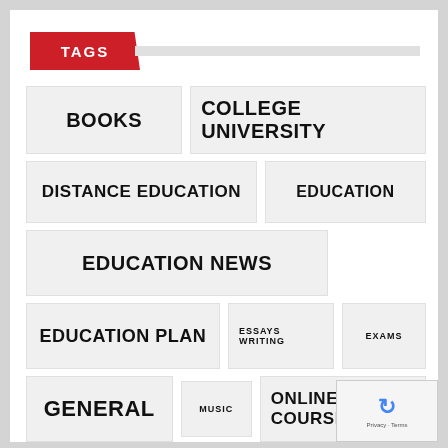TAGS
BOOKS
COLLEGE UNIVERSITY
DISTANCE EDUCATION
EDUCATION
EDUCATION NEWS
EDUCATION PLAN
ESSAYS WRITING
EXAMS
GENERAL
MUSIC
ONLINE COURSES
ONLINE EDUCATION
SCHOOL EDUCATION